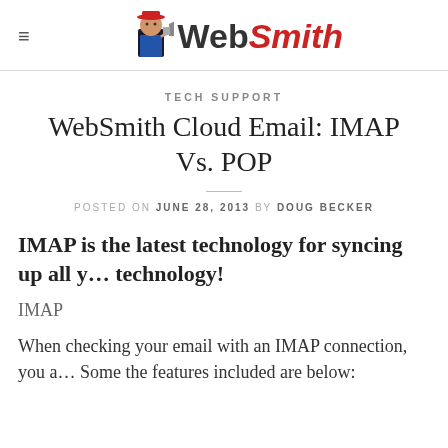≡ WebSmith
TECH SUPPORT
WebSmith Cloud Email: IMAP Vs. POP
POSTED ON JUNE 28, 2013 BY DOUG BECKER
IMAP is the latest technology for syncing up all y... technology!
IMAP
When checking your email with an IMAP connection, you a... Some the features included are below: